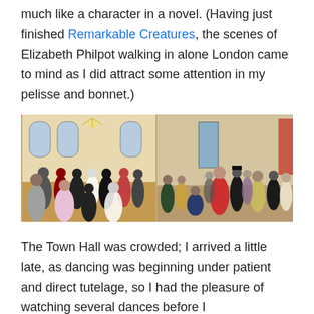much like a character in a novel. (Having just finished Remarkable Creatures, the scenes of Elizabeth Philpot walking in alone London came to mind as I did attract some attention in my pelisse and bonnet.)
[Figure (photo): Two side-by-side images showing Regency-era dance scenes: left is a modern photograph of people in period costume dancing in a ballroom with arched windows and chandelier; right is a historical painting of a Regency-era gathering with people in early 19th century dress.]
The Town Hall was crowded; I arrived a little late, as dancing was beginning under patient and direct tutelage, so I had the pleasure of watching several dances before I